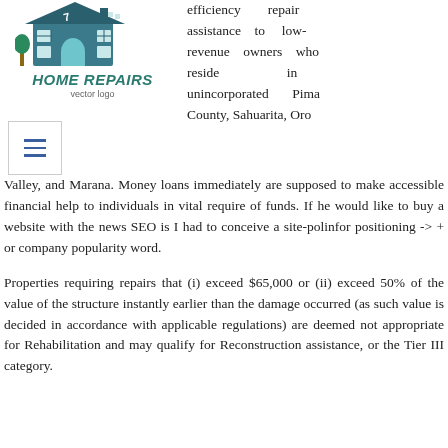[Figure (logo): Home Repairs vector logo: illustrated house with teal/blue tones, text 'HOME REPAIRS' in italic bold teal, subtitle 'vector logo']
efficiency repair assistance to low-revenue owners who reside in unincorporated Pima County, Sahuarita, Oro Valley, and Marana. Money loans immediately are supposed to make accessible financial help to individuals in vital require of funds. If he would like to buy a website with the news SEO is I had to conceive a site-polinfor positioning -> + or company popularity word.
Properties requiring repairs that (i) exceed $65,000 or (ii) exceed 50% of the value of the structure instantly earlier than the damage occurred (as such value is decided in accordance with applicable regulations) are deemed not appropriate for Rehabilitation and may qualify for Reconstruction assistance, or the Tier III category.